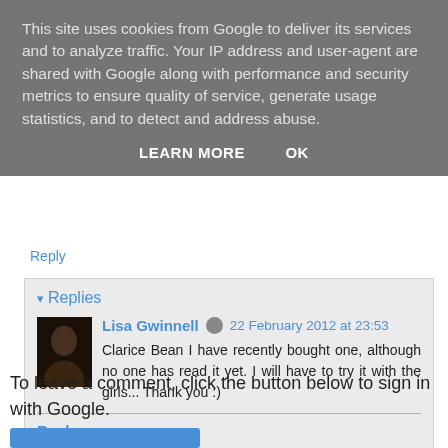This site uses cookies from Google to deliver its services and to analyze traffic. Your IP address and user-agent are shared with Google along with performance and security metrics to ensure quality of service, generate usage statistics, and to detect and address abuse.
LEARN MORE   OK
Reply
▾ Replies
Lisa Gwinnell  22 February 2012 at 23:53
Clarice Bean I have recently bought one, although no one has read it yet. I will have to try it with the girls... Thank you :)
Reply
To leave a comment, click the button below to sign in with Google.